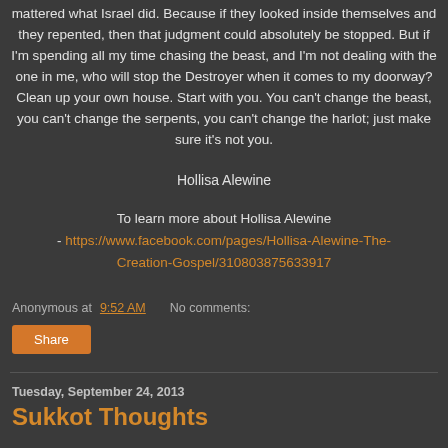mattered what Israel did. Because if they looked inside themselves and they repented, then that judgment could absolutely be stopped. But if I'm spending all my time chasing the beast, and I'm not dealing with the one in me, who will stop the Destroyer when it comes to my doorway? Clean up your own house. Start with you. You can't change the beast, you can't change the serpents, you can't change the harlot; just make sure it's not you.
Hollisa Alewine
To learn more about Hollisa Alewine - https://www.facebook.com/pages/Hollisa-Alewine-The-Creation-Gospel/310803875633917
Anonymous at 9:52 AM    No comments:
Share
Tuesday, September 24, 2013
Sukkot Thoughts